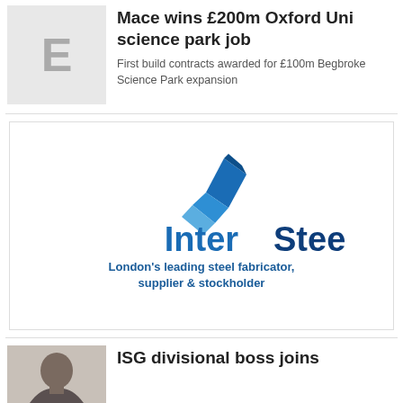Mace wins £200m Oxford Uni science park job
First build contracts awarded for £100m Begbroke Science Park expansion
[Figure (logo): InterSteels logo with tagline: London's leading steel fabricator, supplier & stockholder]
ISG divisional boss joins